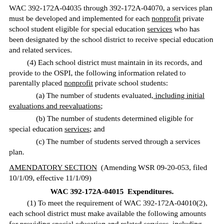WAC 392-172A-04035 through 392-172A-04070, a services plan must be developed and implemented for each nonprofit private school student eligible for special education services who has been designated by the school district to receive special education and related services.
(4) Each school district must maintain in its records, and provide to the OSPI, the following information related to parentally placed nonprofit private school students:
(a) The number of students evaluated, including initial evaluations and reevaluations;
(b) The number of students determined eligible for special education services; and
(c) The number of students served through a services plan.
AMENDATORY SECTION (Amending WSR 09-20-053, filed 10/1/09, effective 11/1/09)
WAC 392-172A-04015 Expenditures.
(1) To meet the requirement of WAC 392-172A-04010(2), each school district must make available the following amounts for providing special education and related services, including direct services to parentally placed nonprofit private school students eligible for special education services.
(a) For students eligible for special education services aged three through twenty-one, an amount that is the same proportion of the school district's total subgrant under section 611(f) of the act as